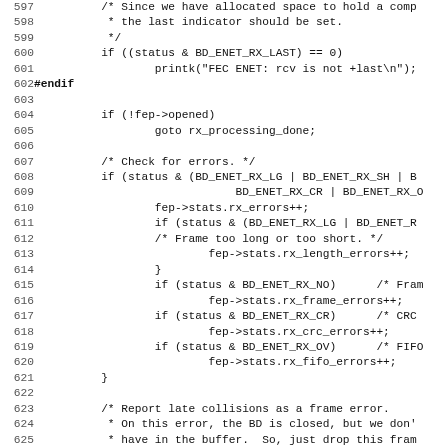[Figure (screenshot): Source code listing showing C code for Ethernet receive processing, lines 597-628, including error checking for BD_ENET_RX_LAST, frame errors, CRC errors, FIFO errors, and late collision handling.]